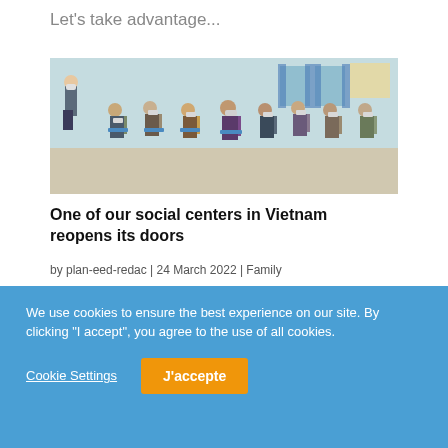Let's take advantage...
[Figure (photo): A group of people wearing face masks sitting in chairs in a room, with one person standing and presenting. The setting appears to be a social/community center in Vietnam.]
One of our social centers in Vietnam reopens its doors
by plan-eed-redac | 24 March 2022 | Family
We use cookies to ensure the best experience on our site. By clicking "I accept", you agree to the use of all cookies.
Cookie Settings
J'accepte